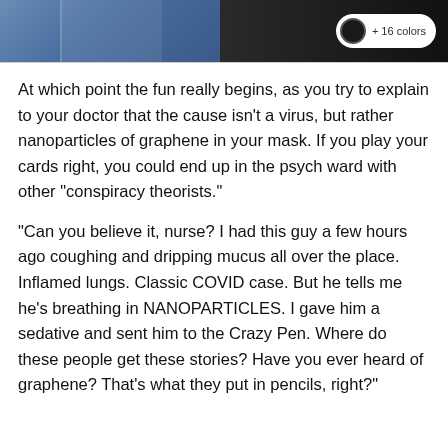[Figure (photo): Top portion of image showing jeans/clothing on left side and dark clothing on right side with a '+16 colors' badge overlay]
At which point the fun really begins, as you try to explain to your doctor that the cause isn't a virus, but rather nanoparticles of graphene in your mask. If you play your cards right, you could end up in the psych ward with other “conspiracy theorists.”
“Can you believe it, nurse? I had this guy a few hours ago coughing and dripping mucus all over the place. Inflamed lungs. Classic COVID case. But he tells me he’s breathing in NANOPARTICLES. I gave him a sedative and sent him to the Crazy Pen. Where do these people get these stories? Have you ever heard of graphene? That’s what they put in pencils, right?”